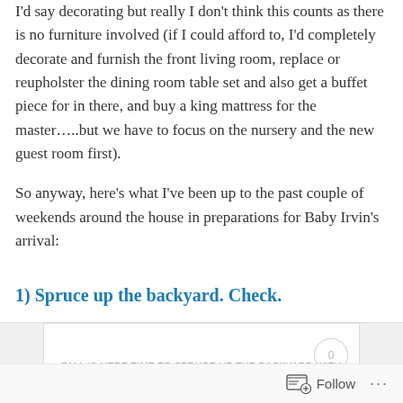I'd say decorating but really I don't think this counts as there is no furniture involved (if I could afford to, I'd completely decorate and furnish the front living room, replace or reupholster the dining room table set and also get a buffet piece for in there, and buy a king mattress for the master…..but we have to focus on the nursery and the new guest room first).

So anyway, here's what I've been up to the past couple of weekends around the house in preparations for Baby Irvin's arrival:
1) Spruce up the backyard. Check.
[Figure (screenshot): Blog post preview card with title 'FALL IS HERE TIME TO SPRUCE UP THE BACKYARD WITH DIY PAINTED POTS, COLORFUL FLOWERS', posted on September 25, 2015 by lindseylrvin, with comment circle showing 0, flanked by chevron arrows]
Follow ···